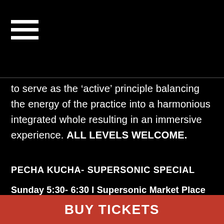[Figure (other): Hamburger menu icon — three white horizontal bars on black background]
to serve as the ‘active’ principle balancing the energy of the practice into a harmonious integrated whole resulting in an immersive experience. ALL LEVELS WELCOME.
PECHA KUCHA- SUPERSONIC SPECIAL
Sunday 5:30- 6:30 I Supersonic Market Place
BUY TICKETS